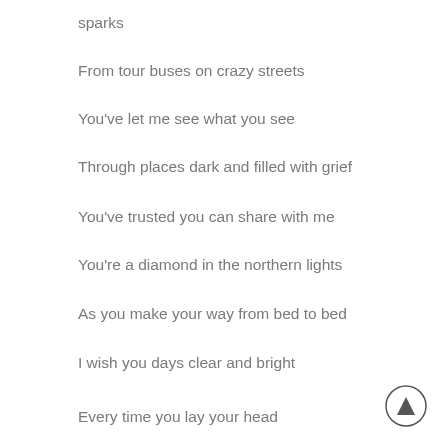sparks
From tour buses on crazy streets
You've let me see what you see
Through places dark and filled with grief
You've trusted you can share with me
You're a diamond in the northern lights
As you make your way from bed to bed
I wish you days clear and bright
Every time you lay your head
[Figure (illustration): A circular scroll-to-top button with an upward-pointing triangle/arrow icon, positioned in the bottom-right corner of the page.]